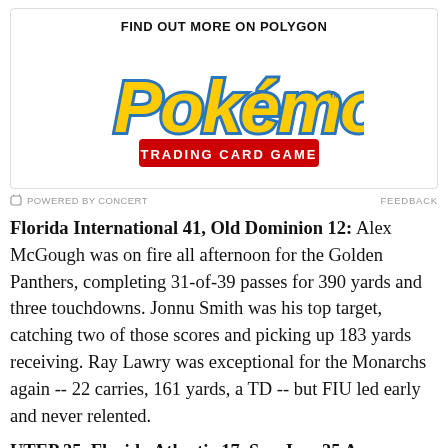[Figure (logo): Pokémon Trading Card Game logo inside an advertisement box with header 'FIND OUT MORE ON POLYGON']
POWERED BY CONCERT   FEEDBACK
Florida International 41, Old Dominion 12: Alex McGough was on fire all afternoon for the Golden Panthers, completing 31-of-39 passes for 390 yards and three touchdowns. Jonnu Smith was his top target, catching two of those scores and picking up 183 yards receiving. Ray Lawry was exceptional for the Monarchs again -- 22 carries, 161 yards, a TD -- but FIU led early and never relented.
UTEP 35, Florida Atlantic 17, San Jose 35 A...